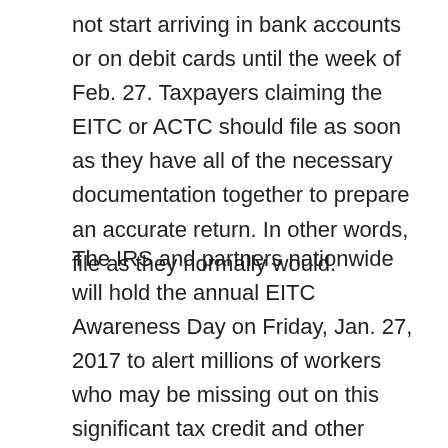not start arriving in bank accounts or on debit cards until the week of Feb. 27. Taxpayers claiming the EITC or ACTC should file as soon as they have all of the necessary documentation together to prepare an accurate return. In other words, file as they normally would.
The IRS and partners nationwide will hold the annual EITC Awareness Day on Friday, Jan. 27, 2017 to alert millions of workers who may be missing out on this significant tax credit and other refundable credits. One easy way to support this outreach effort is by participating on the IRS Thunderclap to help promote